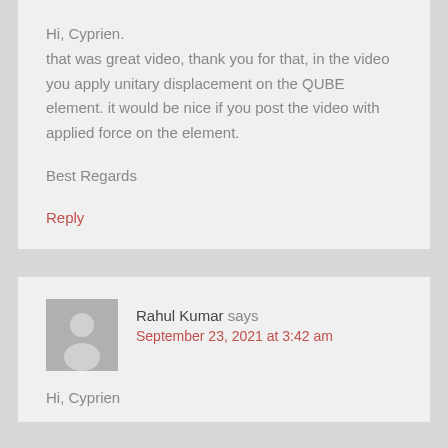Hi, Cyprien.
that was great video, thank you for that, in the video you apply unitary displacement on the QUBE element. it would be nice if you post the video with applied force on the element.

Best Regards
Reply
Rahul Kumar says
September 23, 2021 at 3:42 am
Hi, Cyprien